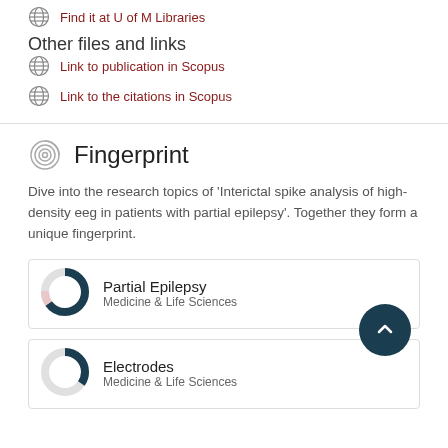Find it at U of M Libraries
Other files and links
Link to publication in Scopus
Link to the citations in Scopus
Fingerprint
Dive into the research topics of 'Interictal spike analysis of high-density eeg in patients with partial epilepsy'. Together they form a unique fingerprint.
[Figure (infographic): Donut chart badge for Partial Epilepsy, Medicine & Life Sciences, approximately 90% fill]
[Figure (infographic): Donut chart badge for Electrodes, Medicine & Life Sciences, approximately 60% fill]